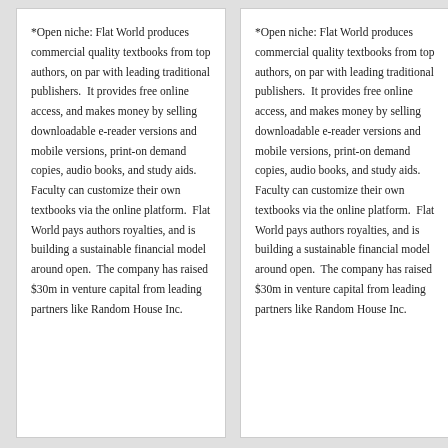*Open niche: Flat World produces commercial quality textbooks from top authors, on par with leading traditional publishers.  It provides free online access, and makes money by selling downloadable e-reader versions and mobile versions, print-on demand copies, audio books, and study aids.  Faculty can customize their own textbooks via the online platform.  Flat World pays authors royalties, and is building a sustainable financial model around open.  The company has raised $30m in venture capital from leading partners like Random House Inc.
*Open niche: Flat World produces commercial quality textbooks from top authors, on par with leading traditional publishers.  It provides free online access, and makes money by selling downloadable e-reader versions and mobile versions, print-on demand copies, audio books, and study aids.  Faculty can customize their own textbooks via the online platform.  Flat World pays authors royalties, and is building a sustainable financial model around open.  The company has raised $30m in venture capital from leading partners like Random House Inc.